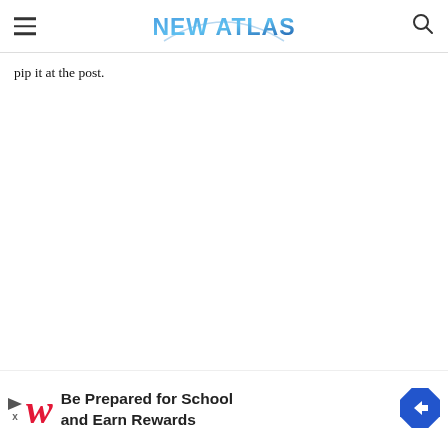NEW ATLAS
pip it at the post.
Check out the latest high-speed run below.
[Figure (other): Advertisement banner: Walgreens ad reading 'Be Prepared for School and Earn Rewards' with Walgreens logo and navigation arrow icon]